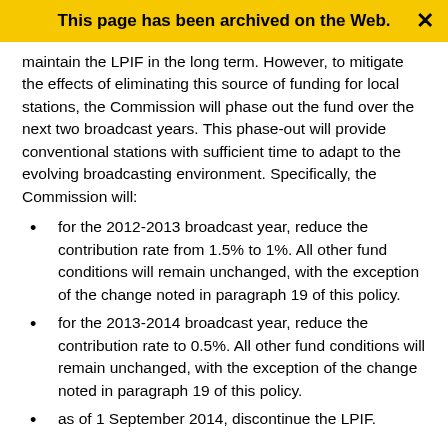This page has been archived on the Web.
maintain the LPIF in the long term. However, to mitigate the effects of eliminating this source of funding for local stations, the Commission will phase out the fund over the next two broadcast years. This phase-out will provide conventional stations with sufficient time to adapt to the evolving broadcasting environment. Specifically, the Commission will:
for the 2012-2013 broadcast year, reduce the contribution rate from 1.5% to 1%. All other fund conditions will remain unchanged, with the exception of the change noted in paragraph 19 of this policy.
for the 2013-2014 broadcast year, reduce the contribution rate to 0.5%. All other fund conditions will remain unchanged, with the exception of the change noted in paragraph 19 of this policy.
as of 1 September 2014, discontinue the LPIF.